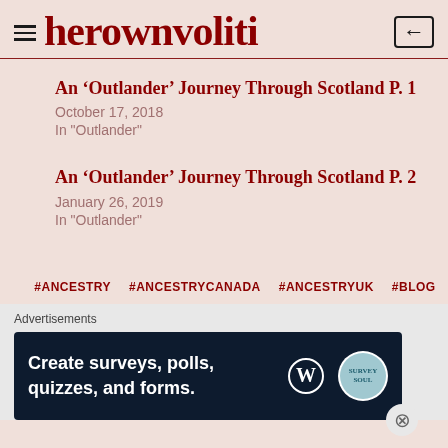herownvoliti
An ‘Outlander’ Journey Through Scotland P. 1
October 17, 2018
In "Outlander"
An ‘Outlander’ Journey Through Scotland P. 2
January 26, 2019
In "Outlander"
#ANCESTRY   #ANCESTRYCANADA   #ANCESTRYUK   #BLOG
Advertisements
[Figure (screenshot): Dark blue advertisement banner reading 'Create surveys, polls, quizzes, and forms.' with WordPress and survey icons]